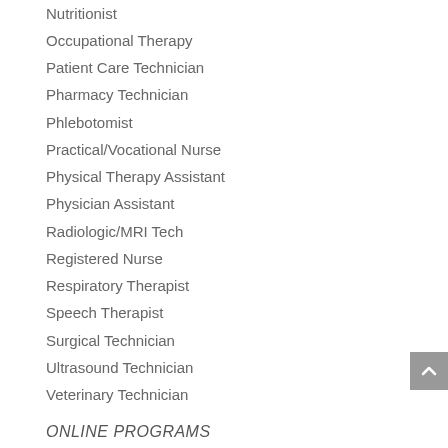Nutritionist
Occupational Therapy
Patient Care Technician
Pharmacy Technician
Phlebotomist
Practical/Vocational Nurse
Physical Therapy Assistant
Physician Assistant
Radiologic/MRI Tech
Registered Nurse
Respiratory Therapist
Speech Therapist
Surgical Technician
Ultrasound Technician
Veterinary Technician
ONLINE PROGRAMS
CNA Classes Online
CMA Classes Online